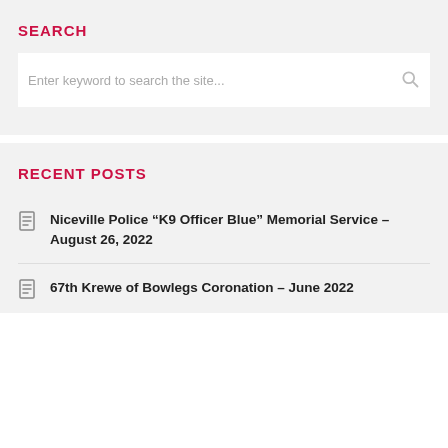SEARCH
Enter keyword to search the site...
RECENT POSTS
Niceville Police “K9 Officer Blue” Memorial Service – August 26, 2022
67th Krewe of Bowlegs Coronation – June 2022